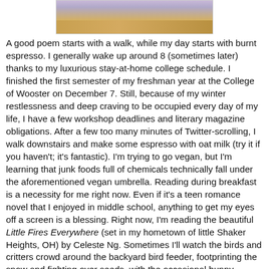[Figure (photo): Partial photo of an indoor scene showing furniture, wooden floor, and a purple/lavender wall]
A good poem starts with a walk, while my day starts with burnt espresso. I generally wake up around 8 (sometimes later) thanks to my luxurious stay-at-home college schedule. I finished the first semester of my freshman year at the College of Wooster on December 7. Still, because of my winter restlessness and deep craving to be occupied every day of my life, I have a few workshop deadlines and literary magazine obligations. After a few too many minutes of Twitter-scrolling, I walk downstairs and make some espresso with oat milk (try it if you haven't; it's fantastic). I'm trying to go vegan, but I'm learning that junk foods full of chemicals technically fall under the aforementioned vegan umbrella. Reading during breakfast is a necessity for me right now. Even if it's a teen romance novel that I enjoyed in middle school, anything to get my eyes off a screen is a blessing. Right now, I'm reading the beautiful Little Fires Everywhere (set in my hometown of little Shaker Heights, OH) by Celeste Ng. Sometimes I'll watch the birds and critters crowd around the backyard bird feeder, footprinting the snow and fighting over seeds, with the occasional bunny